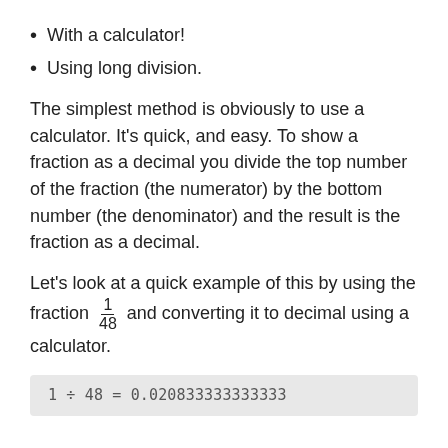With a calculator!
Using long division.
The simplest method is obviously to use a calculator. It's quick, and easy. To show a fraction as a decimal you divide the top number of the fraction (the numerator) by the bottom number (the denominator) and the result is the fraction as a decimal.
Let's look at a quick example of this by using the fraction 1/48 and converting it to decimal using a calculator.